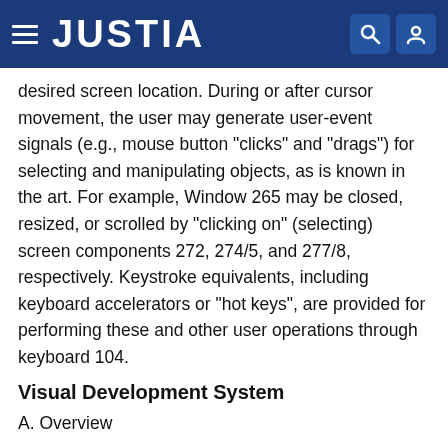JUSTIA
desired screen location. During or after cursor movement, the user may generate user-event signals (e.g., mouse button "clicks" and "drags") for selecting and manipulating objects, as is known in the art. For example, Window 265 may be closed, resized, or scrolled by "clicking on" (selecting) screen components 272, 274/5, and 277/8, respectively. Keystroke equivalents, including keyboard accelerators or "hot keys", are provided for performing these and other user operations through keyboard 104.
Visual Development System
A. Overview
The development system 230 of the present invention comprises a visual programming environment based on which leadin a hierarchical data flow model. The system